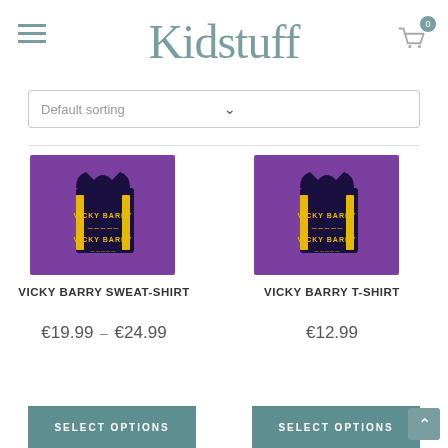Kidstuff
Default sorting
[Figure (photo): Purple Vicky Barry sweat-shirt folded on purple background]
VICKY BARRY SWEAT-SHIRT
€19.99 – €24.99
[Figure (photo): Purple Vicky Barry t-shirt folded on purple background]
VICKY BARRY T-SHIRT
€12.99
SELECT OPTIONS
SELECT OPTIONS